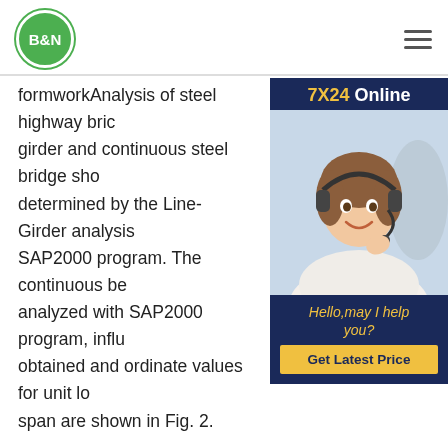B&N
formworkAnalysis of steel highway bridge girder and continuous steel bridge should be determined by the Line-Girder analysis with SAP2000 program. The continuous beam is analyzed with SAP2000 program, influence lines obtained and ordinate values for unit load for each span are shown in Fig. 2.
[Figure (photo): Advertisement banner: 7X24 Online support with photo of a woman with headset smiling. Text: Hello, may I help you? Get Latest Price button.]
Big Steel Panels - Acrow Fomwork
Overview Advantages. - ACROW Big Steel Panel is a tailor made system for special applications. - It is mainly used for piers and abutments. - ACROW